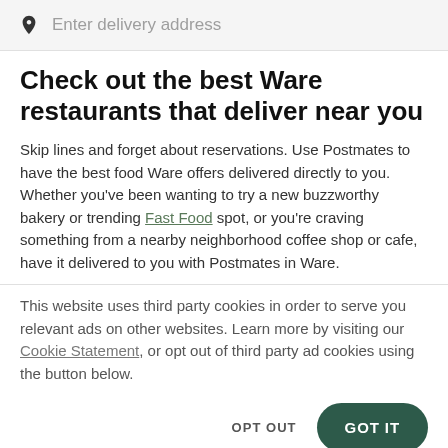Enter delivery address
Check out the best Ware restaurants that deliver near you
Skip lines and forget about reservations. Use Postmates to have the best food Ware offers delivered directly to you. Whether you've been wanting to try a new buzzworthy bakery or trending Fast Food spot, or you're craving something from a nearby neighborhood coffee shop or cafe, have it delivered to you with Postmates in Ware.
This website uses third party cookies in order to serve you relevant ads on other websites. Learn more by visiting our Cookie Statement, or opt out of third party ad cookies using the button below.